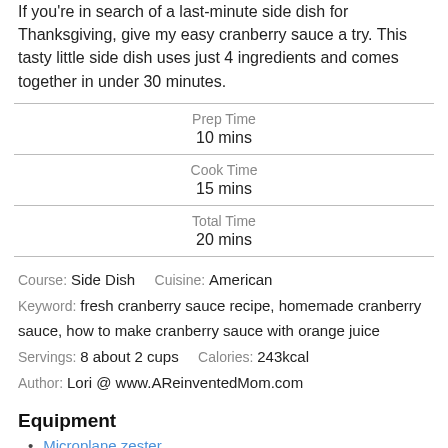If you're in search of a last-minute side dish for Thanksgiving, give my easy cranberry sauce a try. This tasty little side dish uses just 4 ingredients and comes together in under 30 minutes.
| Prep Time | 10 mins |
| Cook Time | 15 mins |
| Total Time | 20 mins |
Course: Side Dish    Cuisine: American
Keyword: fresh cranberry sauce recipe, homemade cranberry sauce, how to make cranberry sauce with orange juice
Servings: 8 about 2 cups    Calories: 243kcal
Author: Lori @ www.AReinventedMom.com
Equipment
Microplane zester
Mesh strainer
Potato masher